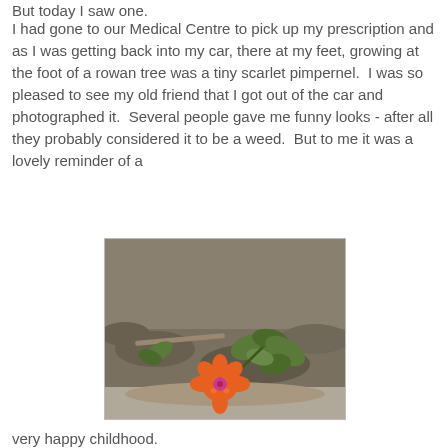But today I saw one.
I had gone to our Medical Centre to pick up my prescription and as I was getting back into my car, there at my feet, growing at the foot of a rowan tree was a tiny scarlet pimpernel.  I was so pleased to see my old friend that I got out of the car and photographed it.  Several people gave me funny looks - after all they probably considered it to be a weed.  But to me it was a lovely reminder of a
[Figure (photo): A close-up photograph of a small orange scarlet pimpernel flower with green leaves, growing on stony ground.]
very happy childhood.